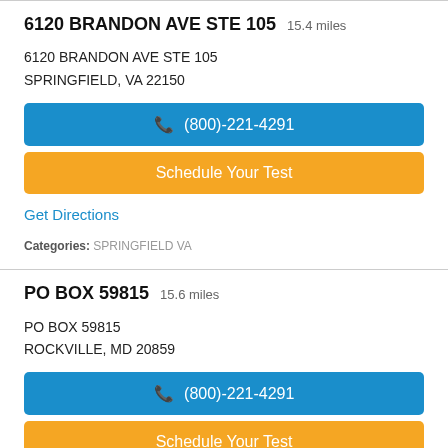6120 BRANDON AVE STE 105 15.4 miles
6120 BRANDON AVE STE 105
SPRINGFIELD, VA 22150
(800)-221-4291
Schedule Your Test
Get Directions
Categories: SPRINGFIELD VA
PO BOX 59815 15.6 miles
PO BOX 59815
ROCKVILLE, MD 20859
(800)-221-4291
Schedule Your Test